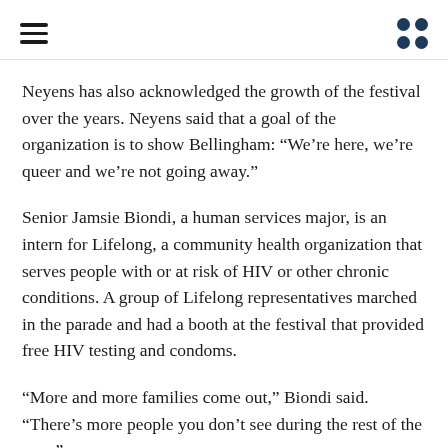[hamburger menu icon] [dots grid icon]
Neyens has also acknowledged the growth of the festival over the years. Neyens said that a goal of the organization is to show Bellingham: “We’re here, we’re queer and we’re not going away.”
Senior Jamsie Biondi, a human services major, is an intern for Lifelong, a community health organization that serves people with or at risk of HIV or other chronic conditions. A group of Lifelong representatives marched in the parade and had a booth at the festival that provided free HIV testing and condoms.
“More and more families come out,” Biondi said. “There’s more people you don’t see during the rest of the year.”
Neyens said he hopes that as Bellingham Pride expands, the money that is fundraised will be used to fund Pride